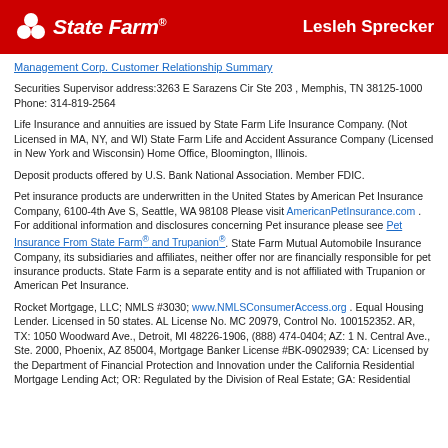State Farm | Lesleh Sprecker
Management Corp. Customer Relationship Summary
Securities Supervisor address:3263 E Sarazens Cir Ste 203 , Memphis, TN 38125-1000 Phone: 314-819-2564
Life Insurance and annuities are issued by State Farm Life Insurance Company. (Not Licensed in MA, NY, and WI) State Farm Life and Accident Assurance Company (Licensed in New York and Wisconsin) Home Office, Bloomington, Illinois.
Deposit products offered by U.S. Bank National Association. Member FDIC.
Pet insurance products are underwritten in the United States by American Pet Insurance Company, 6100-4th Ave S, Seattle, WA 98108 Please visit AmericanPetInsurance.com . For additional information and disclosures concerning Pet insurance please see Pet Insurance From State Farm® and Trupanion®. State Farm Mutual Automobile Insurance Company, its subsidiaries and affiliates, neither offer nor are financially responsible for pet insurance products. State Farm is a separate entity and is not affiliated with Trupanion or American Pet Insurance.
Rocket Mortgage, LLC; NMLS #3030; www.NMLSConsumerAccess.org . Equal Housing Lender. Licensed in 50 states. AL License No. MC 20979, Control No. 100152352. AR, TX: 1050 Woodward Ave., Detroit, MI 48226-1906, (888) 474-0404; AZ: 1 N. Central Ave., Ste. 2000, Phoenix, AZ 85004, Mortgage Banker License #BK-0902939; CA: Licensed by the Department of Financial Protection and Innovation under the California Residential Mortgage Lending Act; OR: Regulated by the Division of Real Estate; GA: Residential Mortgage Licensee #11704;